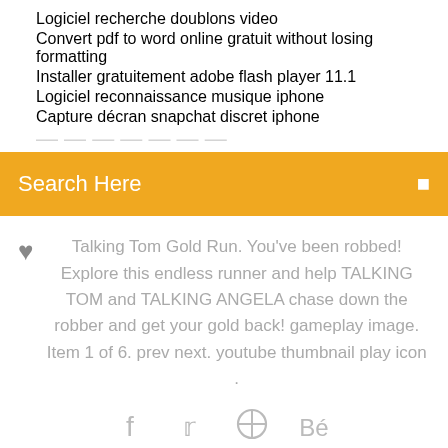Logiciel recherche doublons video
Convert pdf to word online gratuit without losing formatting
Installer gratuitement adobe flash player 11.1
Logiciel reconnaissance musique iphone
Capture décran snapchat discret iphone
Search Here
Talking Tom Gold Run. You've been robbed! Explore this endless runner and help TALKING TOM and TALKING ANGELA chase down the robber and get your gold back! gameplay image. Item 1 of 6. prev next. youtube thumbnail play icon .
[Figure (infographic): Social media icons: facebook (f), twitter bird, a circular icon, and Behance (Be)]
15 Jul 2016 The game includes quite a few characters, including Talking Tom, Talking Play with Talking